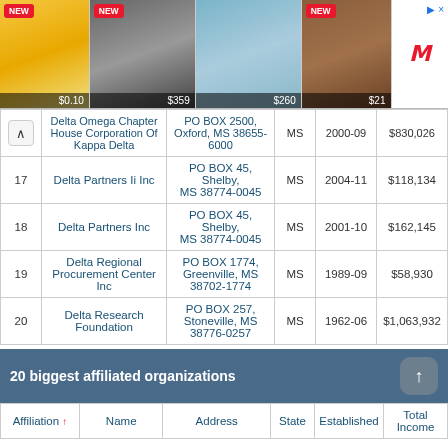[Figure (other): Advertisement banner with 4 product images (phone $0.10, tech $359, scooter $260, bag $21) and NEW badges, with external link arrow]
|  | Name | Address | State | Established | Total Income |
| --- | --- | --- | --- | --- | --- |
|  | Delta Omega Chapter House Corporation Of Kappa Delta | PO BOX 2500, Oxford, MS 38655-6000 | MS | 2000-09 | $830,026 |
| 17 | Delta Partners Ii Inc | PO BOX 45, Shelby, MS 38774-0045 | MS | 2004-11 | $118,134 |
| 18 | Delta Partners Inc | PO BOX 45, Shelby, MS 38774-0045 | MS | 2001-10 | $162,145 |
| 19 | Delta Regional Procurement Center Inc | PO BOX 1774, Greenville, MS 38702-1774 | MS | 1989-09 | $58,930 |
| 20 | Delta Research Foundation | PO BOX 257, Stoneville, MS 38776-0257 | MS | 1962-06 | $1,063,932 |
20 biggest affiliated organizations
| Affiliation | Name | Address | State | Established | Total Income |
| --- | --- | --- | --- | --- | --- |